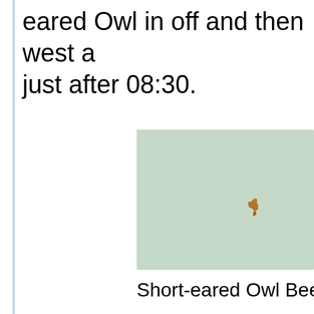eared Owl in off and then west a just after 08:30.
[Figure (photo): A small bird (Short-eared Owl) in flight against a pale sage green sky background. The bird appears small and distant, positioned in the right-center portion of the image.]
Short-eared Owl Beer